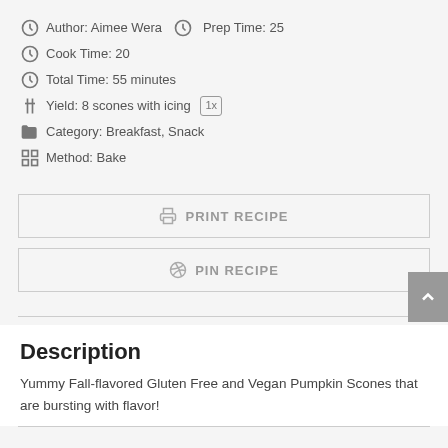Author: Aimee Wera  Prep Time: 25
Cook Time: 20
Total Time: 55 minutes
Yield: 8 scones with icing 1x
Category: Breakfast, Snack
Method: Bake
PRINT RECIPE
PIN RECIPE
Description
Yummy Fall-flavored Gluten Free and Vegan Pumpkin Scones that are bursting with flavor!